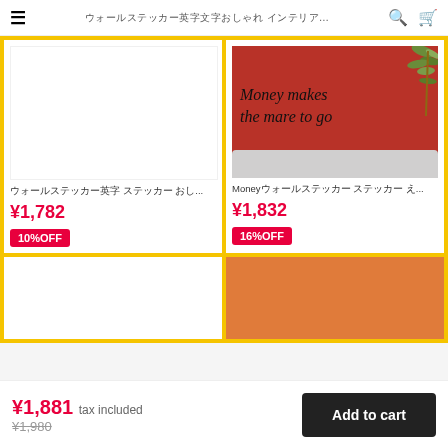☰  ウォールステッカー英字文字おしゃれ インテリア...  🔍  🛒
[Figure (photo): Product card 1: white background, Japanese text title, price ¥1,782, 10%OFF badge]
[Figure (photo): Product card 2: red background with italic script 'Money makes the mare to go' wall sticker and plant, price ¥1,832, 16%OFF badge]
[Figure (photo): Partial product card 3: white background (bottom half, cut off)]
[Figure (photo): Partial product card 4: orange/tan background (bottom half, cut off)]
¥1,881 tax included
¥1,980
Add to cart